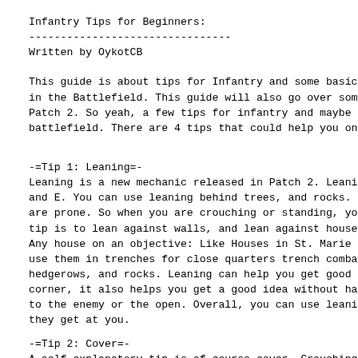Infantry Tips for Beginners:
--------------------------------
Written by OykotCB
This guide is about tips for Infantry and some basics in the Battlefield. This guide will also go over some Patch 2. So yeah, a few tips for infantry and maybe th battlefield. There are 4 tips that could help you on t
-=Tip 1: Leaning=-
Leaning is a new mechanic released in Patch 2. Leaning and E. You can use leaning behind trees, and rocks. Le are prone. So when you are crouching or standing, you tip is to lean against walls, and lean against houses. Any house on an objective: Like Houses in St. Marie Du use them in trenches for close quarters trench combat. hedgerows, and rocks. Leaning can help you get good sp corner, it also helps you get a good idea without havi to the enemy or the open. Overall, you can use leaning they get at you.
-=Tip 2: Cover=-
A self explanatory tip is of course cover. Crouching b objects like trees, houses, tanks, hedgerows, fences, behind them makes you safe from direct shots at your l you. Along with using leaning behind cover, you can ge Cover already helps, but also using the new lean featu own safety. Cover can be taken advantage by the enemy